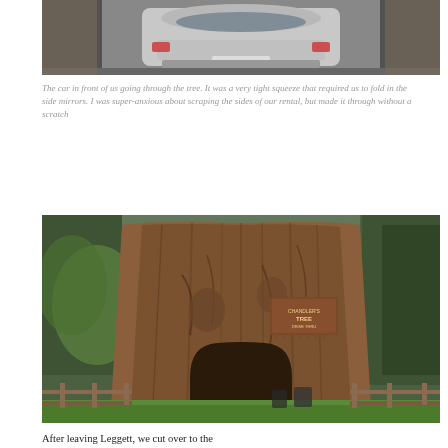[Figure (photo): Car driving through a large tree tunnel, viewed from behind. The car barely fits through the narrow opening carved in the redwood tree.]
The car in front of us going through the tree. It was a very tight squeeze that required us to fold in the side mirrors. I was super-anxious about scraping the sides of our rental, but made it through without a scratch
[Figure (photo): A massive redwood tree with a car-sized tunnel carved through its base. A wooden sign reading 'Chandelier Tree' is visible. The enormous tree is surrounded by forest, with a wooden fence in the foreground and green grass.]
After leaving Leggett, we cut over to the